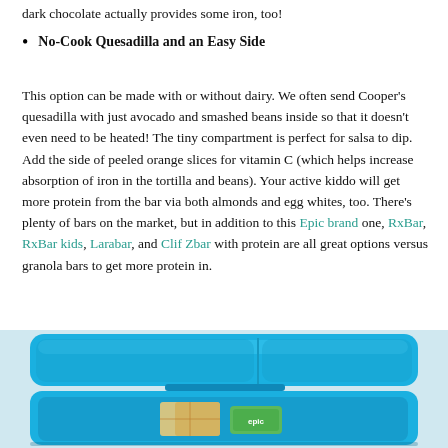dark chocolate actually provides some iron, too!
No-Cook Quesadilla and an Easy Side
This option can be made with or without dairy. We often send Cooper’s quesadilla with just avocado and smashed beans inside so that it doesn’t even need to be heated! The tiny compartment is perfect for salsa to dip. Add the side of peeled orange slices for vitamin C (which helps increase absorption of iron in the tortilla and beans). Your active kiddo will get more protein from the bar via both almonds and egg whites, too. There’s plenty of bars on the market, but in addition to this Epic brand one, RxBar, RxBar kids, Larabar, and Clif Zbar with protein are all great options versus granola bars to get more protein in.
[Figure (photo): Photo of a blue bento-style lunchbox open, showing compartments with food items including what appears to be a quesadilla and a green-labeled snack bar (Epic brand).]